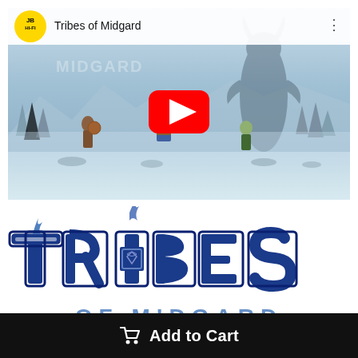[Figure (screenshot): YouTube video thumbnail for 'Tribes of Midgard' on JB Hi-Fi channel, showing Viking warriors in a frozen landscape with a giant dark creature in the background, red YouTube play button overlay]
[Figure (logo): Tribes of Midgard game logo in bold blue outlined letters with Viking/Norse styling]
Add to Cart